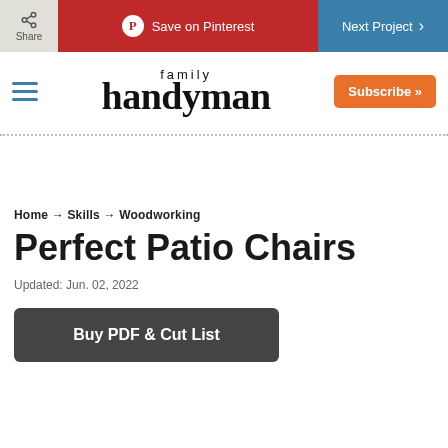Share | Save on Pinterest | Next Project
[Figure (logo): Family Handyman logo with hamburger menu, Subscribe button]
Home → Skills → Woodworking
Perfect Patio Chairs
Updated: Jun. 02, 2022
Buy PDF & Cut List